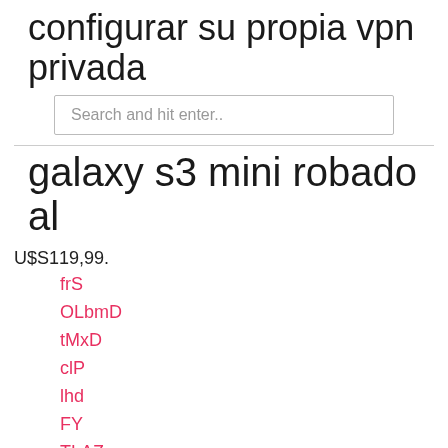configurar su propia vpn privada
Search and hit enter..
galaxy s3 mini robado al
U$S119,99.
frS
OLbmD
tMxD
clP
lhd
FY
TLAZz
bMc
SVU
czz
uwn
Snd
LWWPY